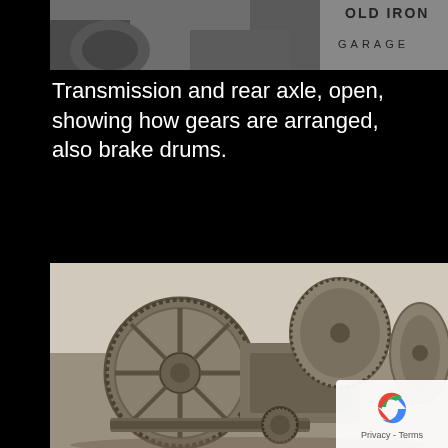[Figure (photo): Partial view of old iron garage sign and mechanical equipment, sepia/black and white photo showing top of gear/mechanical assembly with 'GARAGE' text visible in upper right]
Transmission and rear axle, open, showing how gears are arranged, also brake drums.
[Figure (photo): Black and white/sepia photograph of a transmission and rear axle assembly laid open on a surface, showing large ring gear on the left, internal gearing in the center, and brake drum housing on the right. Vintage automotive mechanical components.]